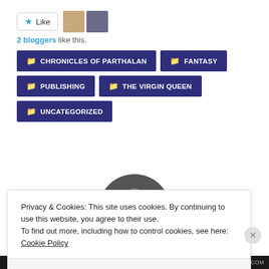[Figure (other): Like button with star icon and two blogger avatar thumbnails]
2 bloggers like this.
📁 CHRONICLES OF PARTHALAN
📁 FANTASY
📁 PUBLISHING
📁 THE VIRGIN QUEEN
📁 UNCATEGORIZED
[Figure (photo): Circular cropped black and white portrait photo of a person]
Privacy & Cookies: This site uses cookies. By continuing to use this website, you agree to their use.
To find out more, including how to control cookies, see here: Cookie Policy
Close and accept